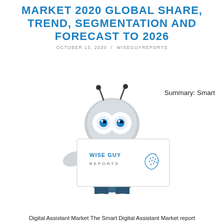MARKET 2020 GLOBAL SHARE, TREND, SEGMENTATION AND FORECAST TO 2026
OCTOBER 13, 2020 / WISEGUYREPORTS
[Figure (illustration): Wise Guy Reports mascot robot character holding a sign with Wise Guy Reports logo]
Summary: Smart
Digital Assistant Market The Smart Digital Assistant Market report